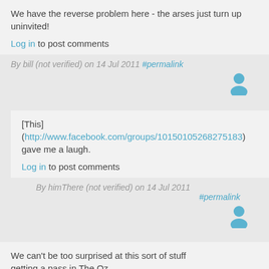We have the reverse problem here - the arses just turn up uninvited!
Log in to post comments
By bill (not verified) on 14 Jul 2011 #permalink
[This] (http://www.facebook.com/groups/10150105268275183) gave me a laugh.
Log in to post comments
By himThere (not verified) on 14 Jul 2011 #permalink
We can't be too surprised at this sort of stuff getting a pass in The Oz...